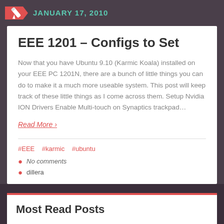JANUARY 17, 2010
EEE 1201 – Configs to Set
Now that you have Ubuntu 9.10 (Karmic Koala) installed on your EEE PC 1201N, there are a bunch of little things you can do to make it a much more useable system. This post will keep track of these little things as I come across them. Setup Nvidia ION Drivers Enable Multi-touch on Synaptics trackpad…
Read More ›
#EEE   #karmic   #ubuntu
No comments
dillera
Most Read Posts